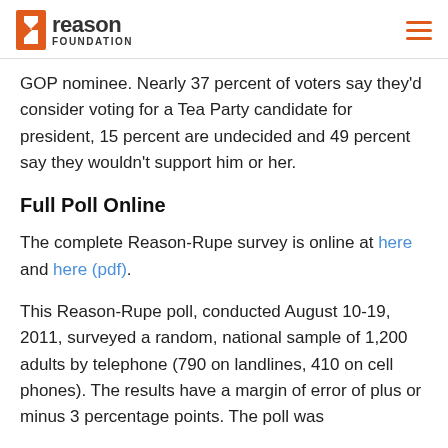Reason Foundation
GOP nominee. Nearly 37 percent of voters say they'd consider voting for a Tea Party candidate for president, 15 percent are undecided and 49 percent say they wouldn't support him or her.
Full Poll Online
The complete Reason-Rupe survey is online at here and here (pdf).
This Reason-Rupe poll, conducted August 10-19, 2011, surveyed a random, national sample of 1,200 adults by telephone (790 on landlines, 410 on cell phones). The results have a margin of error of plus or minus 3 percentage points. The poll was